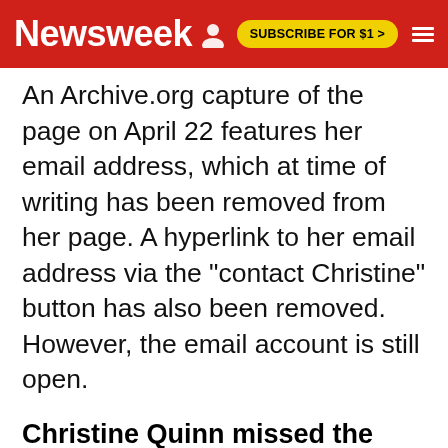Newsweek | SUBSCRIBE FOR $1 >
An Archive.org capture of the page on April 22 features her email address, which at time of writing has been removed from her page. A hyperlink to her email address via the "contact Christine" button has also been removed. However, the email account is still open.
Christine Quinn missed the Selling Sunset Season 5 reunion show